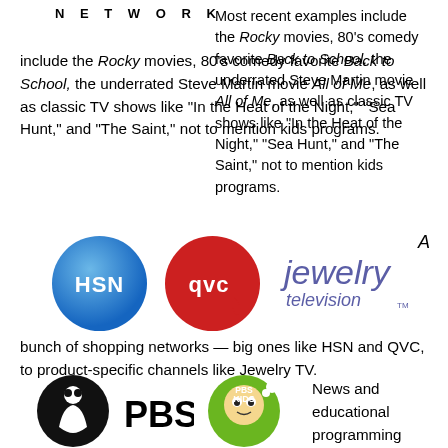NETWORK
Most recent examples include the Rocky movies, 80's comedy favorite Back to School, the underrated Steve Martin movie All of Me, as well as classic TV shows like “In the Heat of the Night,” “Sea Hunt,” and “The Saint,” not to mention kids programs.
[Figure (logo): HSN blue circle logo, QVC red circle logo, Jewelry Television purple text logo]
A bunch of shopping networks — big ones like HSN and QVC, to product-specific channels like Jewelry TV.
[Figure (logo): PBS circular logo with person figure, PBS text, PBS Kids green circle logo]
News and educational programming